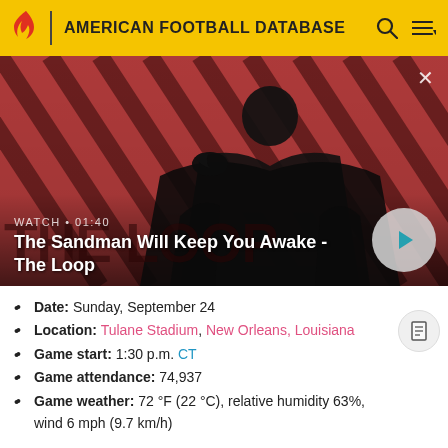AMERICAN FOOTBALL DATABASE
[Figure (screenshot): Video thumbnail for 'The Sandman Will Keep You Awake - The Loop' showing a dark-clad figure with a crow against a diagonal stripe background. Shows WATCH · 01:40 text and a play button.]
Date: Sunday, September 24
Location: Tulane Stadium, New Orleans, Louisiana
Game start: 1:30 p.m. CT
Game attendance: 74,937
Game weather: 72 °F (22 °C), relative humidity 63%, wind 6 mph (9.7 km/h)